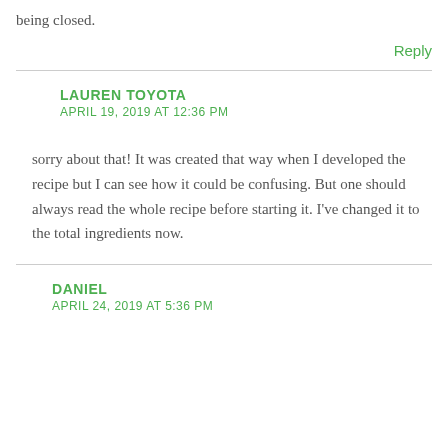being closed.
Reply
LAUREN TOYOTA
APRIL 19, 2019 AT 12:36 PM
sorry about that! It was created that way when I developed the recipe but I can see how it could be confusing. But one should always read the whole recipe before starting it. I've changed it to the total ingredients now.
DANIEL
APRIL 24, 2019 AT 5:36 PM